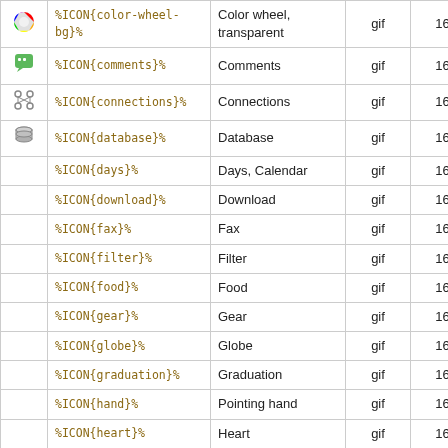|  | Code | Description | Type | Size |
| --- | --- | --- | --- | --- |
| [color-wheel icon] | %ICON{color-wheel-bg}% | Color wheel, transparent | gif | 16x16 |
| [comments icon] | %ICON{comments}% | Comments | gif | 16x16 |
| [connections icon] | %ICON{connections}% | Connections | gif | 16x16 |
| [database icon] | %ICON{database}% | Database | gif | 16x16 |
|  | %ICON{days}% | Days, Calendar | gif | 16x16 |
|  | %ICON{download}% | Download | gif | 16x16 |
|  | %ICON{fax}% | Fax | gif | 16x16 |
|  | %ICON{filter}% | Filter | gif | 16x16 |
|  | %ICON{food}% | Food | gif | 16x16 |
|  | %ICON{gear}% | Gear | gif | 16x16 |
|  | %ICON{globe}% | Globe | gif | 16x16 |
|  | %ICON{graduation}% | Graduation | gif | 16x16 |
|  | %ICON{hand}% | Pointing hand | gif | 16x16 |
|  | %ICON{heart}% | Heart | gif | 16x16 |